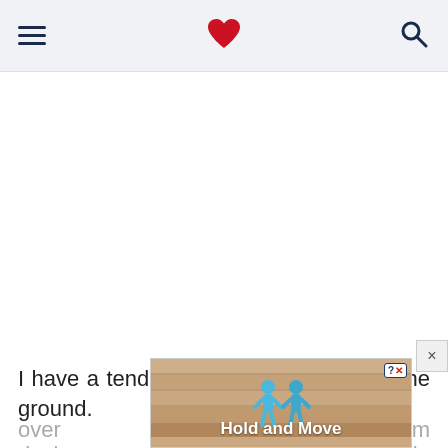Navigation header with hamburger menu, heart logo, and search icon
I have a tendency to run a theme into the ground. While it makes for a cute room, when we are over room desi jungle
[Figure (screenshot): Advertisement overlay showing 'Hold and Move' app with two blue figurines on a wooden floor background, with close/question buttons in top right corner]